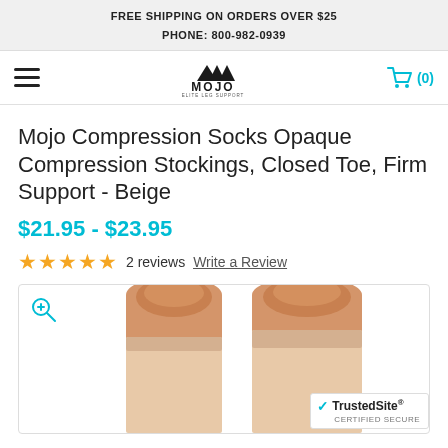FREE SHIPPING ON ORDERS OVER $25
PHONE: 800-982-0939
[Figure (logo): Mojo Elite Leg Support logo with mountain/chevron icon and text MOJO ELITE LEG SUPPORT]
Mojo Compression Socks Opaque Compression Stockings, Closed Toe, Firm Support - Beige
$21.95 - $23.95
2 reviews  Write a Review
[Figure (photo): Photo of two legs wearing beige compression stockings, showing knee-high coverage. A zoom magnifier icon is in the top left corner.]
TrustedSite CERTIFIED SECURE